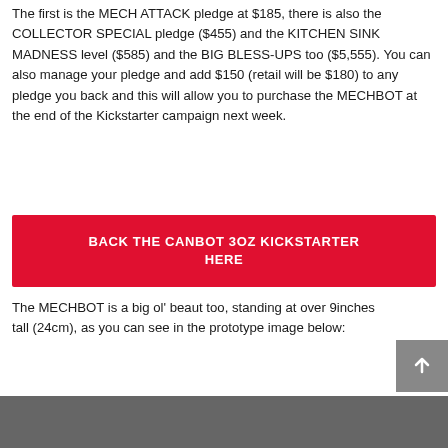The first is the MECH ATTACK pledge at $185, there is also the COLLECTOR SPECIAL pledge ($455) and the KITCHEN SINK MADNESS level ($585) and the BIG BLESS-UPS too ($5,555). You can also manage your pledge and add $150 (retail will be $180) to any pledge you back and this will allow you to purchase the MECHBOT at the end of the Kickstarter campaign next week.
BACK THE CANBOT 3OZ KICKSTARTER HERE
The MECHBOT is a big ol' beaut too, standing at over 9inches tall (24cm), as you can see in the prototype image below:
[Figure (photo): Bottom portion of a prototype image, partially visible at the bottom of the page]